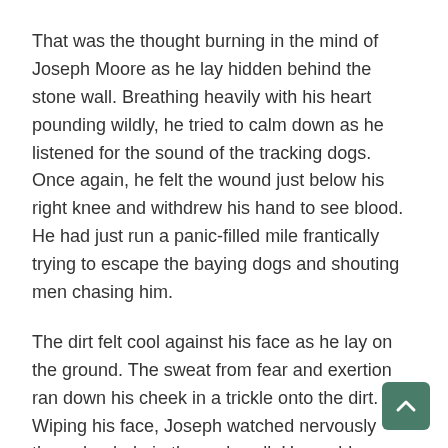That was the thought burning in the mind of Joseph Moore as he lay hidden behind the stone wall. Breathing heavily with his heart pounding wildly, he tried to calm down as he listened for the sound of the tracking dogs. Once again, he felt the wound just below his right knee and withdrew his hand to see blood. He had just run a panic-filled mile frantically trying to escape the baying dogs and shouting men chasing him.
The dirt felt cool against his face as he lay on the ground. The sweat from fear and exertion ran down his cheek in a trickle onto the dirt. Wiping his face, Joseph watched nervously through a hole in the rock wall. He could see toward the west as he scanned carefully for any sign of the men and dogs. On a normal day the unique smell of the peaty dirt of western Ireland would have been something he enjoyed. But today was not a normal day. It was a day full of events that would change his life forever – if he survived it.
On this day, in the year 1849, Joseph Moore of the village of Westport, County Mayo, Ireland was a young man of sixteen. A tall thin teenager with sandy hair and a pleasant freckled ruddy face, he was